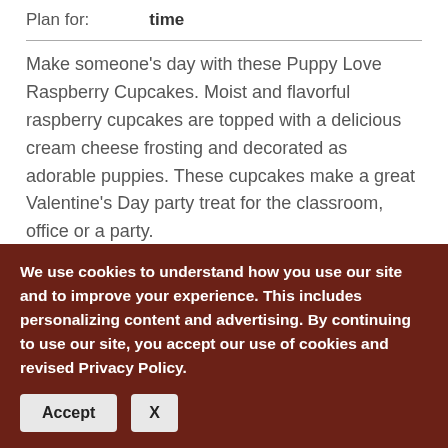Plan for:   time
Make someone's day with these Puppy Love Raspberry Cupcakes. Moist and flavorful raspberry cupcakes are topped with a delicious cream cheese frosting and decorated as adorable puppies. These cupcakes make a great Valentine's Day party treat for the classroom, office or a party.
Rating:  ☆☆☆☆☆   Rate it yourself
[Figure (logo): Two small logos/badges at the bottom of the page]
We use cookies to understand how you use our site and to improve your experience. This includes personalizing content and advertising. By continuing to use our site, you accept our use of cookies and revised Privacy Policy.